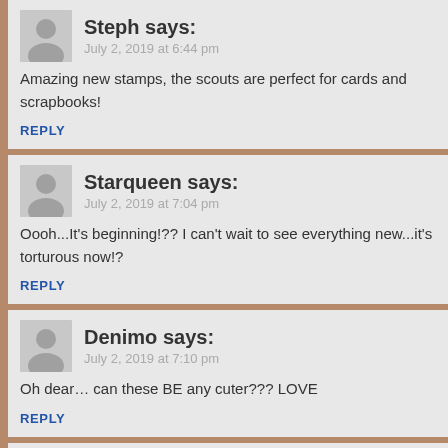Steph says:
July 2, 2019 at 6:44 pm
Amazing new stamps, the scouts are perfect for cards and scrapbooks!
REPLY
Starqueen says:
July 2, 2019 at 7:04 pm
Oooh...It's beginning!?? I can't wait to see everything new...it's torturous now!?
REPLY
Denimo says:
July 2, 2019 at 7:10 pm
Oh dear... can these BE any cuter??? LOVE
REPLY
Nan Mack says:
July 2, 2019 at 7:16 pm
Love them all. I was a scout and find these stamps just adorable. I think my fa bird is wonderful too. Guess I'll be working an extra day this week to feed my
REPLY